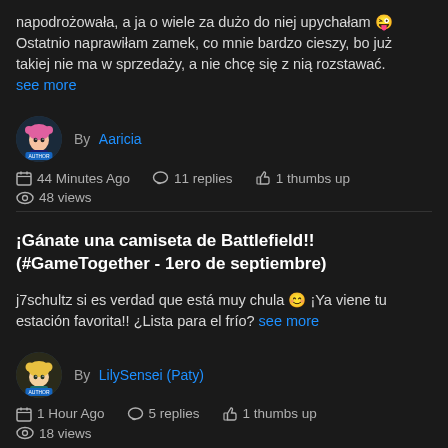napodrożowała, a ja o wiele za dużo do niej upychałam 😜 Ostatnio naprawiłam zamek, co mnie bardzo cieszy, bo już takiej nie ma w sprzedaży, a nie chcę się z nią rozstawać. see more
By Aaricia
44 Minutes Ago  11 replies  1 thumbs up  48 views
¡Gánate una camiseta de Battlefield!! (#GameTogether - 1ero de septiembre)
j7schultz si es verdad que está muy chula 😊 ¡Ya viene tu estación favorita!! ¿Lista para el frío? see more
By LilySensei (Paty)
1 Hour Ago  5 replies  1 thumbs up  18 views